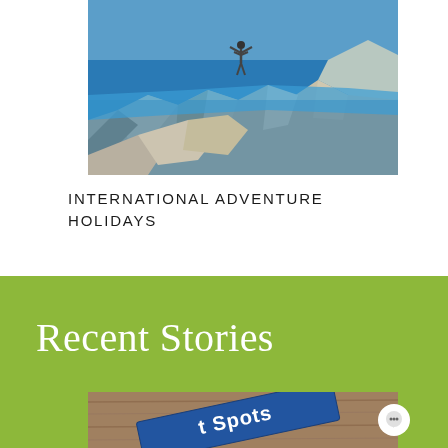[Figure (photo): Person standing on rocky cliff above bright blue sea/ocean, white limestone rocks in foreground, turquoise water and mountains in background]
INTERNATIONAL ADVENTURE HOLIDAYS
Recent Stories
[Figure (photo): Partial view of a book or magazine with 'Spots' text visible on a dark cover, resting on a wooden surface]